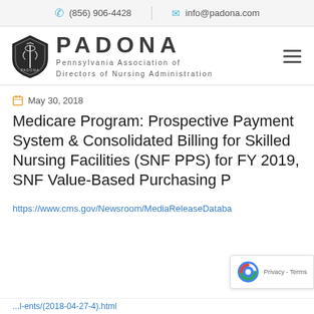(856) 906-4428   info@padona.com
[Figure (logo): PADONA logo with shield emblem and text: PADONA Pennsylvania Association of Directors of Nursing Administration]
May 30, 2018
Medicare Program: Prospective Payment System & Consolidated Billing for Skilled Nursing Facilities (SNF PPS) for FY 2019, SNF Value-Based Purchasing P
https://www.cms.gov/Newsroom/MediaReleaseDataba...